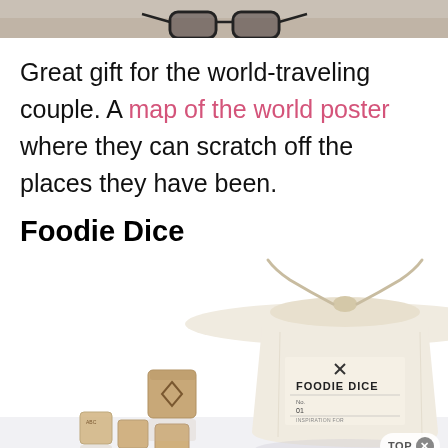[Figure (photo): Top portion of a photo showing glasses and other items on a wooden surface, cropped at bottom.]
Great gift for the world-traveling couple. A map of the world poster where they can scratch off the places they have been.
Foodie Dice
[Figure (photo): Product photo of Foodie Dice — a small canvas drawstring bag labeled 'FOODIE DICE' with wooden dice scattered in front of it on a reflective white surface.]